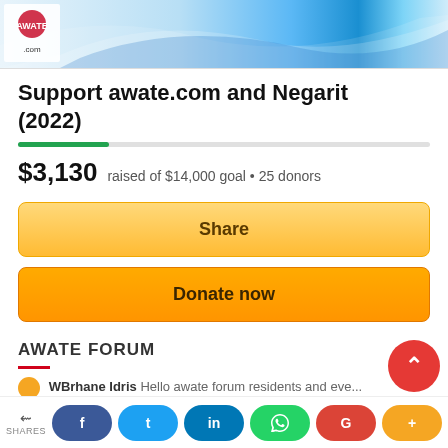[Figure (illustration): Website banner with blue wave design and a small logo icon in the top-left corner]
Support awate.com and Negarit (2022)
$3,130 raised of $14,000 goal • 25 donors
Share
Donate now
AWATE FORUM
WBrhane Idris Hello awate forum residents and eve...
< SHARES  f  t  in  (whatsapp)  G  +